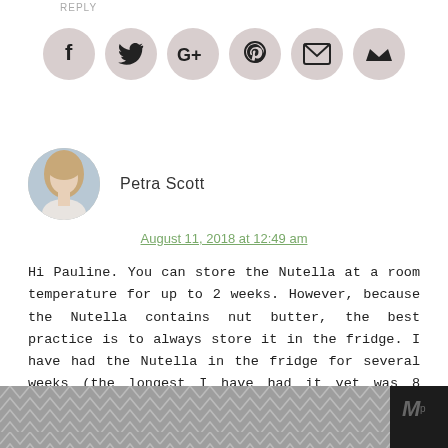REPLY
[Figure (infographic): Row of social media sharing icons in gray circles: Facebook (f), Twitter (bird), Google+ (G+), Pinterest (p), email (envelope), crown/newsletter icon]
[Figure (photo): Circular avatar photo of Petra Scott, a woman with long light brown hair]
Petra Scott
August 11, 2018 at 12:49 am
Hi Pauline. You can store the Nutella at a room temperature for up to 2 weeks. However, because the Nutella contains nut butter, the best practice is to always store it in the fridge. I have had the Nutella in the fridge for several weeks (the longest I have had it yet was 8 weeks) and it never went bad. The only thing that happens when you store it in the fridge is that the Nutella thickens (just like regular nut butter does). If you keep it at a room temperature, the Nutella consistency doesn't
[Figure (illustration): Dark bottom banner with gray geometric hexagon/chevron pattern and small logo mark on the right]